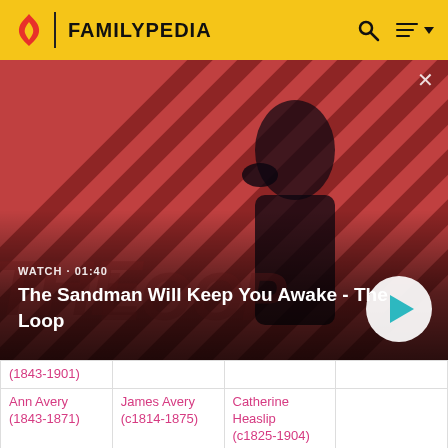FAMILYPEDIA
[Figure (screenshot): Video thumbnail for 'The Sandman Will Keep You Awake - The Loop' showing a dark-clad figure with a raven on a red and black striped background. Shows WATCH · 01:40 label and a play button.]
| (1843-1901) |  |  |  |
| Ann Avery (1843-1871) | James Avery (c1814-1875) | Catherine Heaslip (c1825-1904) |  |
| George | John | Elizabeth |  |